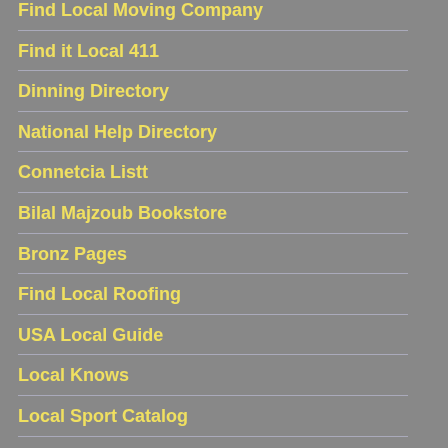Find Local Moving Company
Find it Local 411
Dinning Directory
National Help Directory
Connetcia Listt
Bilal Majzoub Bookstore
Bronz Pages
Find Local Roofing
USA Local Guide
Local Knows
Local Sport Catalog
AZ Cintads Directory
Best Local Business